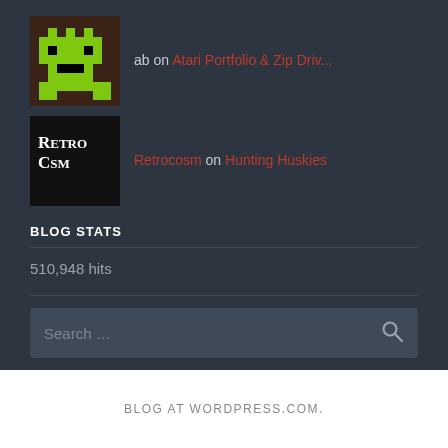ab on Atari Portfolio & Zip Driv...
Retrocosm on Hunting Huskies
BLOG STATS
510,948 hits
[Figure (screenshot): Search input field with placeholder text 'Search ...' and a search icon on the right]
BLOG AT WORDPRESS.COM.